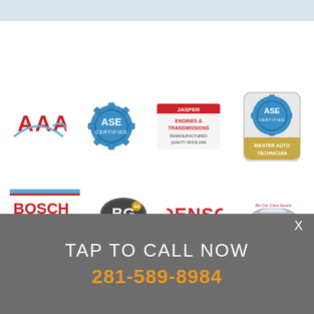[Figure (logo): Row of certification and partner logos: AAA, ASE Certified, Jasper Engines & Transmissions, ASE Master Auto Technician badge; and second row: Bosch Service, BG products, DENSO, Be Car Care Aware]
TAP TO CALL NOW
281-589-8984